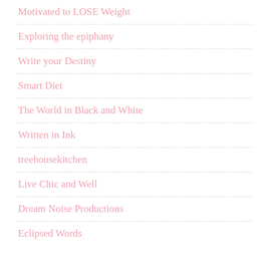Motivated to LOSE Weight
Exploring the epiphany
Write your Destiny
Smart Diet
The World in Black and White
Written in Ink
treehousekitchen
Live Chic and Well
Dream Noise Productions
Eclipsed Words